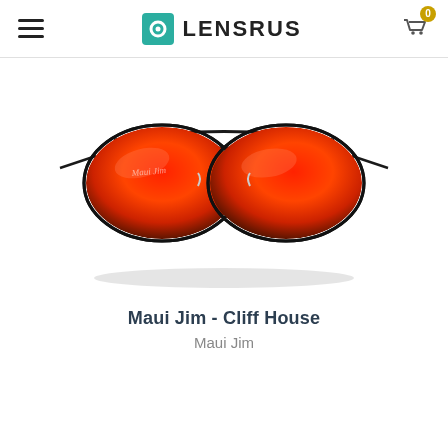LENSRUS
[Figure (photo): Maui Jim Cliff House aviator sunglasses with black metal frame and red/orange mirror lenses, photographed on white background]
Maui Jim - Cliff House
Maui Jim